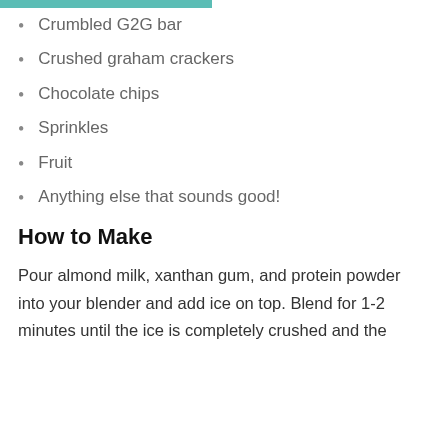Crumbled G2G bar
Crushed graham crackers
Chocolate chips
Sprinkles
Fruit
Anything else that sounds good!
How to Make
Pour almond milk, xanthan gum, and protein powder into your blender and add ice on top. Blend for 1-2 minutes until the ice is completely crushed and the